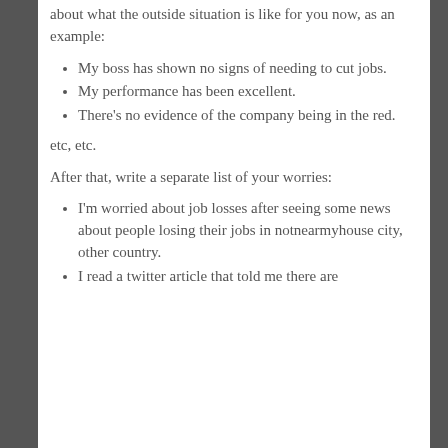about what the outside situation is like for you now, as an example:
My boss has shown no signs of needing to cut jobs.
My performance has been excellent.
There's no evidence of the company being in the red.
etc, etc.
After that, write a separate list of your worries:
I'm worried about job losses after seeing some news about people losing their jobs in notnearmyhouse city, other country.
I read a twitter article that told me there are